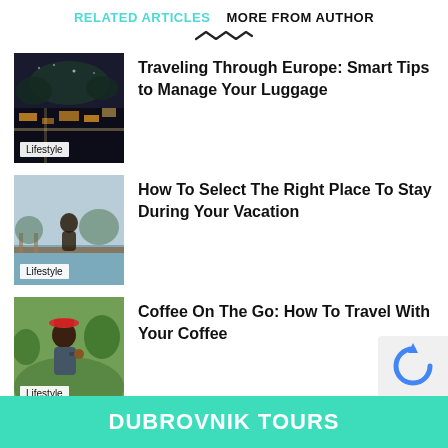RELATED ARTICLES   MORE FROM AUTHOR
[Figure (illustration): Squiggle/wave underline decoration]
[Figure (photo): Aerial night city view with lights and roads - Lifestyle thumbnail]
Traveling Through Europe: Smart Tips to Manage Your Luggage
[Figure (photo): Woman sitting by a railing overlooking water - Lifestyle thumbnail]
How To Select The Right Place To Stay During Your Vacation
[Figure (photo): Man drinking coffee in a scenic green outdoor setting - Lifestyle thumbnail]
Coffee On The Go: How To Travel With Your Coffee
< >
DUBROVNIK TOURS